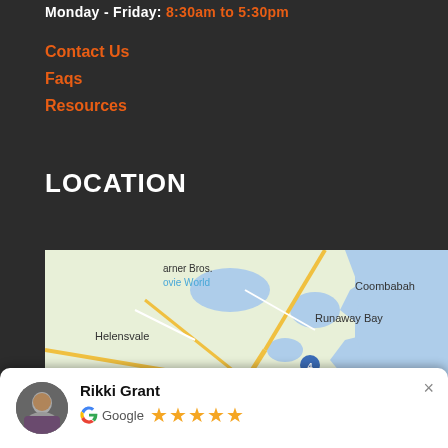Monday - Friday: 8:30am to 5:30pm
Contact Us
Faqs
Resources
LOCATION
[Figure (map): Google Maps showing area around Helensvale, Runaway Bay, Biggera Waters, Coombabah, Arundel, Labrador, Gold Coast area with road network]
Rikki Grant - Google 5-star review